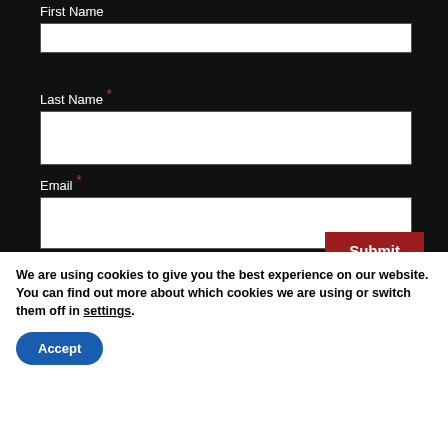First Name
Last Name *
Email *
Submit
We are using cookies to give you the best experience on our website.
You can find out more about which cookies we are using or switch them off in settings.
Accept